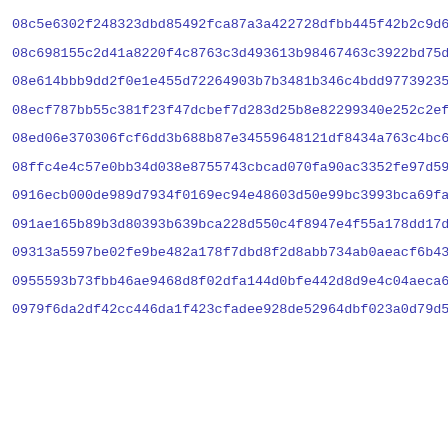08c5e6302f248323dbd85492fca87a3a422728dfbb445f42b2c9d6aadd5fd
08c698155c2d41a8220f4c8763c3d493613b98467463c3922bd75dcf2b02b
08e614bbb9dd2f0e1e455d72264903b7b3481b346c4bdd977392351c187b4
08ecf787bb55c381f23f47dcbef7d283d25b8e82299340e252c2ef7618dd5
08ed06e370306fcf6dd3b688b87e34559648121df8434a763c4bc62223fe8
08ffc4e4c57e0bb34d038e8755743cbcad070fa90ac3352fe97d59af5b7db
0916ecb000de989d7934f0169ec94e48603d50e99bc3993bca69fa4245b30
091ae165b89b3d80393b639bca228d550c4f8947e4f55a178dd17d5d28d98
09313a5597be02fe9be482a178f7dbd8f2d8abb734ab0aeacf6b43dae8e32
0955593b73fbb46ae9468d8f02dfa144d0bfe442d8d9e4c04aeca67fb9cb2
0979f6da2df42cc446da1f423cfadee928de52964dbf023a0d79d5bdbea48